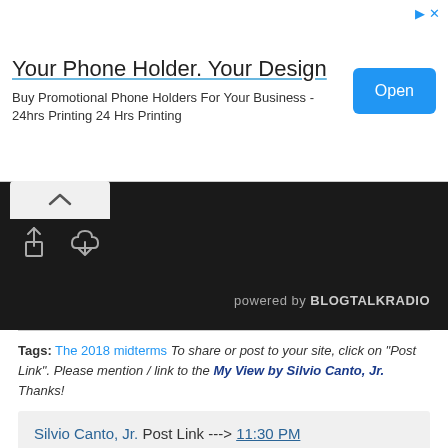[Figure (screenshot): Advertisement banner: 'Your Phone Holder. Your Design' with Open button]
[Figure (screenshot): Audio player bar with controls, powered by BLOGTALKRADIO]
Tags: The 2018 midterms To share or post to your site, click on "Post Link". Please mention / link to the My View by Silvio Canto, Jr. Thanks!
Silvio Canto, Jr. Post Link ---> 11:30 PM
Share
Friday's video: The media needs to do better, too